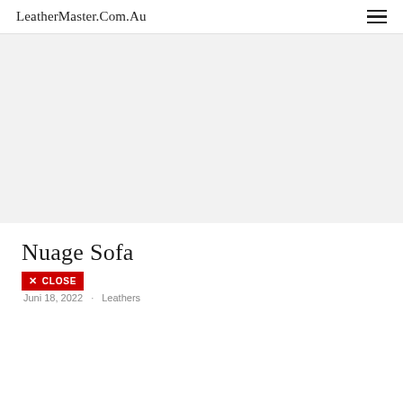LeatherMaster.Com.Au
[Figure (other): Large light gray hero/banner area placeholder, no visible image content]
Nuage Sofa
✕ CLOSE
Juni 18, 2022  ·  Leathers